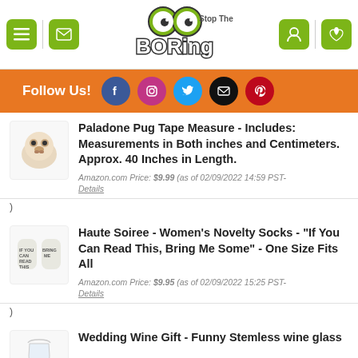Stop The Boring - Navigation header with logo
Follow Us!
Paladone Pug Tape Measure - Includes: Measurements in Both inches and Centimeters. Approx. 40 Inches in Length.
Amazon.com Price: $9.99 (as of 02/09/2022 14:59 PST- Details
)
Haute Soiree - Women's Novelty Socks - "If You Can Read This, Bring Me Some" - One Size Fits All
Amazon.com Price: $9.95 (as of 02/09/2022 15:25 PST- Details
)
Wedding Wine Gift - Funny Stemless wine glass